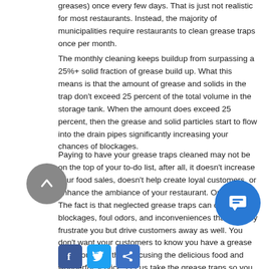greases) once every few days. That is just not realistic for most restaurants. Instead, the majority of municipalities require restaurants to clean grease traps once per month.
The monthly cleaning keeps buildup from surpassing a 25%+ solid fraction of grease build up. What this means is that the amount of grease and solids in the trap don't exceed 25 percent of the total volume in the storage tank. When the amount does exceed 25 percent, then the grease and solid particles start to flow into the drain pipes significantly increasing your chances of blockages.
Paying to have your grease traps cleaned may not be on the top of your to-do list, after all, it doesn't increase your food sales, doesn't help create loyal customers, or enhance the ambiance of your restaurant. Or does it? The fact is that neglected grease traps can cause blockages, foul odors, and inconveniences that not only frustrate you but drive customers away as well. You don't want your customers to know you have a grease trap. You want them focusing the delicious food and wonderful service. Let us take the grease traps so you can take care of them.
[Figure (other): Social media share buttons: Facebook, Twitter, and a generic share button]